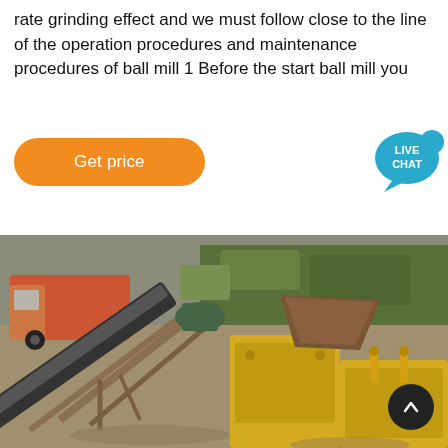rate grinding effect and we must follow close to the line of the operation procedures and maintenance procedures of ball mill 1 Before the start ball mill you
[Figure (other): Orange rounded 'Get price' button]
[Figure (other): Teal speech bubble with 'LIVE CHAT' text]
[Figure (photo): Outdoor industrial mining/crushing equipment site with conveyor belts, crushers, and a truck in the background]